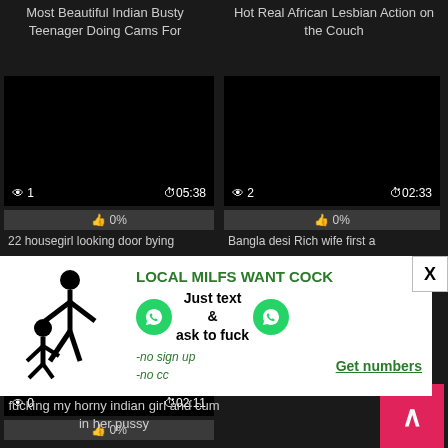Most Beautiful Indian Busty Teenager Doing Cams For
[Figure (screenshot): Black video thumbnail with view count 1 and duration 05:38]
👍 0%
22 housegirl looking door bying
Hot Real African Lesbian Action on the Couch
[Figure (screenshot): Black video thumbnail with view count 2 and duration 02:33]
👍 0%
Bangla desi Rich wife first a
[Figure (infographic): Adult advertisement: LOCAL MILFS WANT COCK - Just text & ask to fuck - no sign up - no cc - Get numbers]
[Figure (screenshot): Black video thumbnail with view count 0 and duration 02:11]
👍 0%
fucking my horny indian girl and cum in her pussy